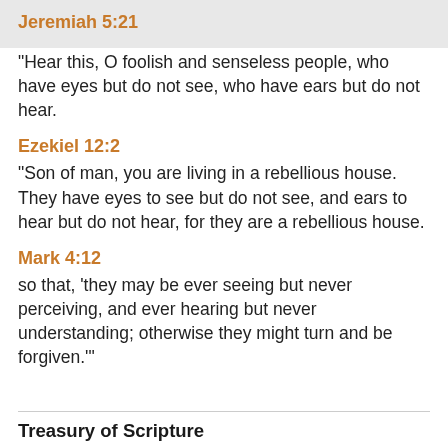Jeremiah 5:21
"Hear this, O foolish and senseless people, who have eyes but do not see, who have ears but do not hear.
Ezekiel 12:2
"Son of man, you are living in a rebellious house. They have eyes to see but do not see, and ears to hear but do not hear, for they are a rebellious house.
Mark 4:12
so that, 'they may be ever seeing but never perceiving, and ever hearing but never understanding; otherwise they might turn and be forgiven.'"
Treasury of Scripture